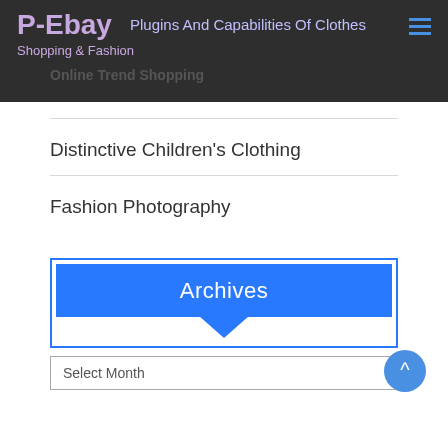P-Ebay
Shopping & Fashion
Plugins And Capabilities Of Clothes
Online Trend Shopping
Distinctive Children's Clothing
Fashion Photography
Archives
Select Month